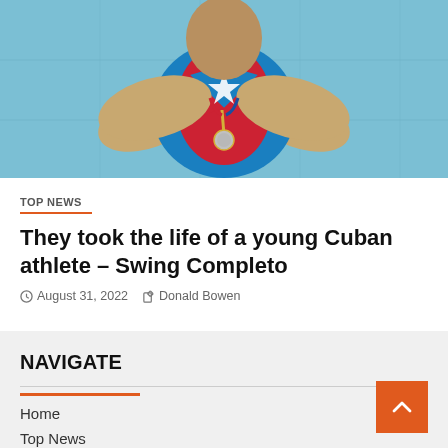[Figure (photo): Cuban wrestler/athlete wearing red and blue Cuba national sports uniform with a medal, sitting on a blue mat, viewed from above/front, muscular build]
TOP NEWS
They took the life of a young Cuban athlete – Swing Completo
August 31, 2022   Donald Bowen
NAVIGATE
Home
Top News